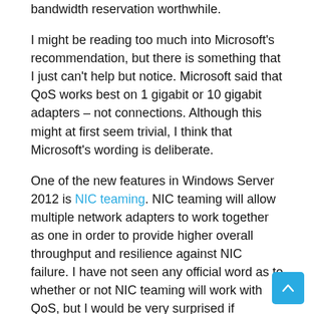bandwidth reservation worthwhile.
I might be reading too much into Microsoft's recommendation, but there is something that I just can't help but notice. Microsoft said that QoS works best on 1 gigabit or 10 gigabit adapters – not connections. Although this might at first seem trivial, I think that Microsoft's wording is deliberate.
One of the new features in Windows Server 2012 is NIC teaming. NIC teaming will allow multiple network adapters to work together as one in order to provide higher overall throughput and resilience against NIC failure. I have not seen any official word as to whether or not NIC teaming will work with QoS, but I would be very surprised if Microsoft did not allow the two features to be used together.
One last thing that I want to quickly mention about QoS is that it is designed for traffic management on physical networks. As such, Microsoft recommends that you avoid